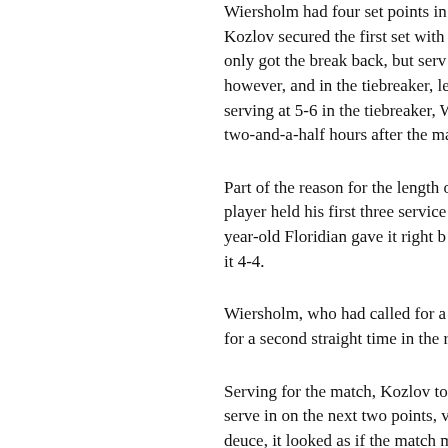Wiersholm had four set points in... Kozlov secured the first set with... only got the break back, but serv... however, and in the tiebreaker, le... serving at 5-6 in the tiebreaker, W... two-and-a-half hours after the ma...
Part of the reason for the length o... player held his first three service... year-old Floridian gave it right b... it 4-4.
Wiersholm, who had called for a... for a second straight time in the r...
Serving for the match, Kozlov to... serve in on the next two points, v... deuce, it looked as if the match m... with a volley winner to give hims... gave Kozlov the win, an emotion...